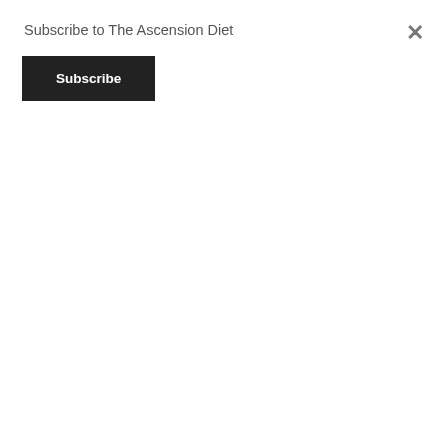Subscribe to The Ascension Diet
Subscribe
mission statement mist MK Ultra MKUltra MKUltra mind control is what all governments do Molech MOMMY monitor MONSANTO Montsegur Mooji Moojibaba Moon Morgellons Morgellons Syndrome morphic resonance Most High MOST HIGH GOD mother Mother's Day mp3 mp4 MrMBB333 mRNA msm Mud Flood municipal murder music My Interviews Mystery Babylon Mystery School mythology my writing nachash Nag Hammadi nano nanobots nanotechnology